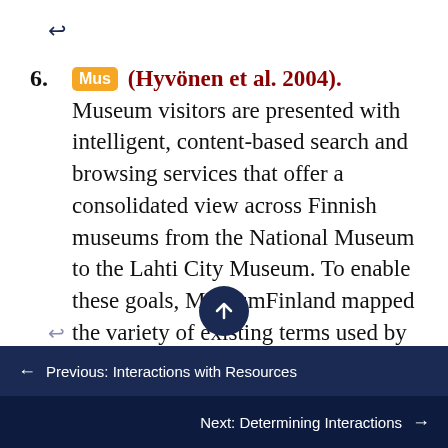6. [Mus] (Hyvönen et al. 2004). Museum visitors are presented with intelligent, content-based search and browsing services that offer a consolidated view across Finnish museums from the National Museum to the Lahti City Museum. To enable these goals, MuseumFinland mapped the variety of existing terms used by different museums onto shared ontologies, which now enable aggregated searching and browsing.
← Previous: Interactions with Resources
Next: Determining Interactions →